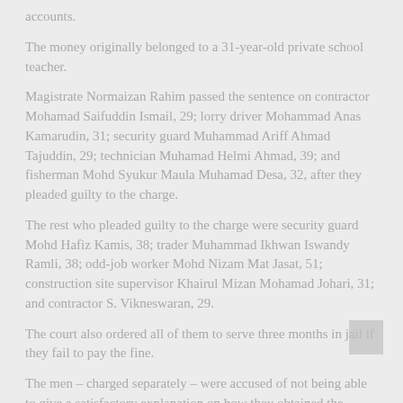accounts.
The money originally belonged to a 31-year-old private school teacher.
Magistrate Normaizan Rahim passed the sentence on contractor Mohamad Saifuddin Ismail, 29; lorry driver Mohammad Anas Kamarudin, 31; security guard Muhammad Ariff Ahmad Tajuddin, 29; technician Muhamad Helmi Ahmad, 39; and fisherman Mohd Syukur Maula Muhamad Desa, 32, after they pleaded guilty to the charge.
The rest who pleaded guilty to the charge were security guard Mohd Hafiz Kamis, 38; trader Muhammad Ikhwan Iswandy Ramli, 38; odd-job worker Mohd Nizam Mat Jasat, 51; construction site supervisor Khairul Mizan Mohamad Johari, 31; and contractor S. Vikneswaran, 29.
The court also ordered all of them to serve three months in jail if they fail to pay the fine.
The men – charged separately – were accused of not being able to give a satisfactory explanation on how they obtained the